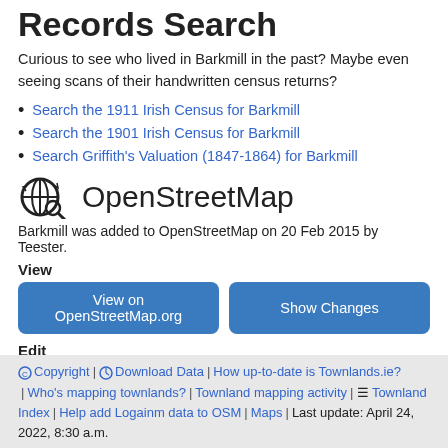Records Search
Curious to see who lived in Barkmill in the past? Maybe even seeing scans of their handwritten census returns?
Search the 1911 Irish Census for Barkmill
Search the 1901 Irish Census for Barkmill
Search Griffith's Valuation (1847-1864) for Barkmill
OpenStreetMap
Barkmill was added to OpenStreetMap on 20 Feb 2015 by Teester.
View
View on OpenStreetMap.org | Show Changes
Edit
JOSM | iD | Potlatch | Level0
© Copyright | ⏱ Download Data | How up-to-date is Townlands.ie? | Who's mapping townlands? | Townland mapping activity | ≡ Townland Index | Help add Logainm data to OSM | Maps | Last update: April 24, 2022, 8:30 a.m.